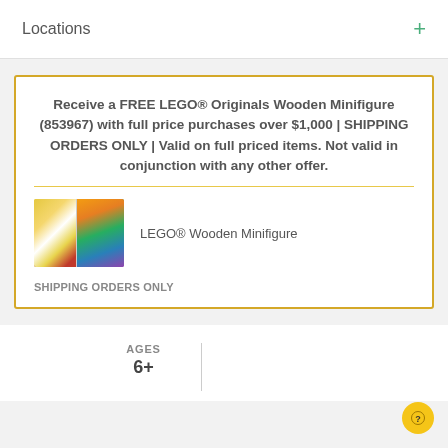Locations
Receive a FREE LEGO® Originals Wooden Minifigure (853967) with full price purchases over $1,000 | SHIPPING ORDERS ONLY | Valid on full priced items. Not valid in conjunction with any other offer.
[Figure (photo): Product image of LEGO® Wooden Minifigure packaging shown from two angles]
LEGO® Wooden Minifigure
SHIPPING ORDERS ONLY
AGES
6+